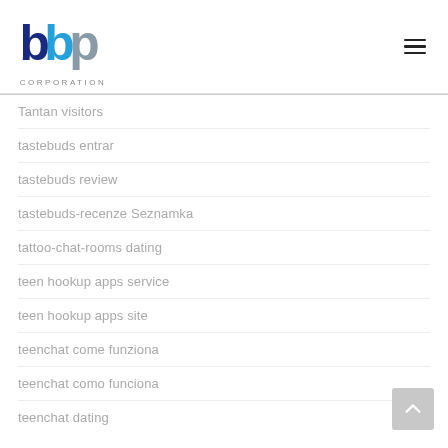[Figure (logo): BBP Corporation logo with blue and grey letters and 'CORPORATION' text below]
Tantan visitors
tastebuds entrar
tastebuds review
tastebuds-recenze Seznamka
tattoo-chat-rooms dating
teen hookup apps service
teen hookup apps site
teenchat come funziona
teenchat como funciona
teenchat dating